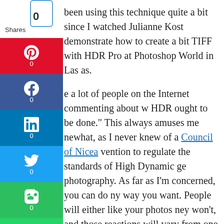[Figure (infographic): Social share sidebar with Pinterest, Facebook, LinkedIn, Twitter, Evernote, WhatsApp, Telegram, and heart/like buttons, each showing 0 shares. A share count box showing 0 is at the top.]
...been using this technique quite a bit since I watched Julianne Kost demonstrate how to create a bit TIFF with HDR Pro at Photoshop World in Las as.
...e a lot of people on the Internet commenting about w HDR ought to be done." This always amuses me newhat, as I never knew of a Council of Nicea vention to regulate the standards of High Dynamic ge photography. As far as I'm concerned, you can do ny way you want. People will either like your photos ney won't, and those reactions will vary from one son to another.
...t said, there are plenty of folks who dislike HDR as